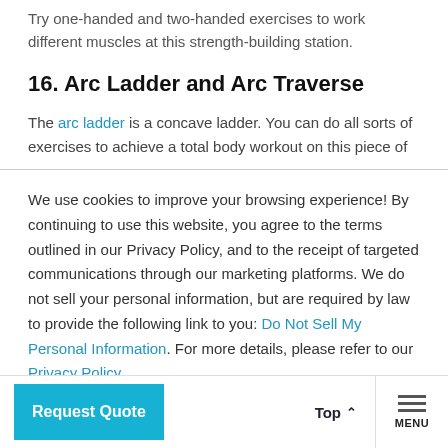Try one-handed and two-handed exercises to work different muscles at this strength-building station.
16. Arc Ladder and Arc Traverse
The arc ladder is a concave ladder. You can do all sorts of exercises to achieve a total body workout on this piece of
We use cookies to improve your browsing experience! By continuing to use this website, you agree to the terms outlined in our Privacy Policy, and to the receipt of targeted communications through our marketing platforms. We do not sell your personal information, but are required by law to provide the following link to you: Do Not Sell My Personal Information. For more details, please refer to our Privacy Policy.
Ok
Request Quote
Top
MENU